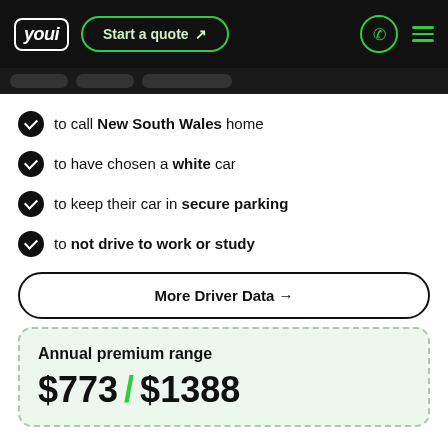youi | Start a quote
to call New South Wales home
to have chosen a white car
to keep their car in secure parking
to not drive to work or study
More Driver Data →
Annual premium range
$773 / $1388